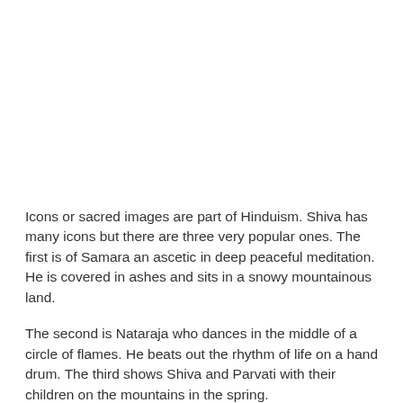Icons or sacred images are part of Hinduism. Shiva has many icons but there are three very popular ones. The first is of Samara an ascetic in deep peaceful meditation. He is covered in ashes and sits in a snowy mountainous land.
The second is Nataraja who dances in the middle of a circle of flames. He beats out the rhythm of life on a hand drum. The third shows Shiva and Parvati with their children on the mountains in the spring.